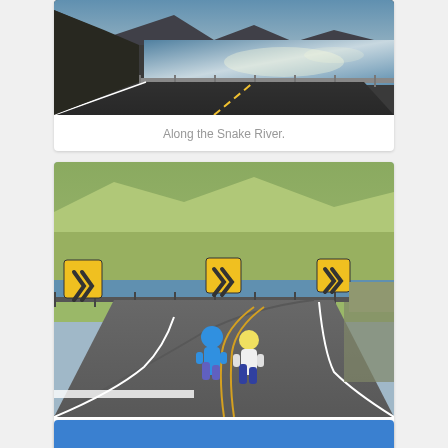[Figure (photo): Road running along the Snake River with mountains and water in background, dark asphalt road with yellow center line, metal guardrail, shimmering water under sunlight]
Along the Snake River.
[Figure (photo): Two runners on a winding road with yellow double center line, yellow chevron warning signs visible, green hillside and river in background, one runner in blue shirt and one in white]
Nearing the end of the river section.
[Figure (photo): Partially visible image at bottom with blue tones]